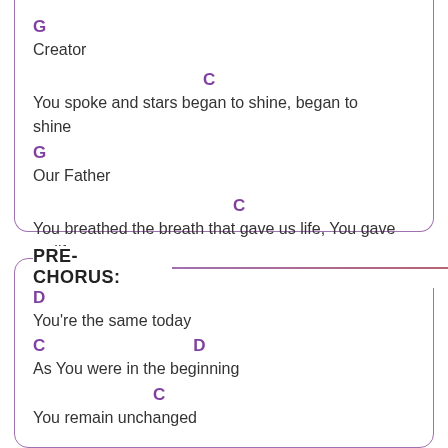G
Creator
C
You spoke and stars began to shine, began to shine
G
Our Father
C
You breathed the breath that gave us life, You gave us life
PRE-CHORUS:
D
You're the same today
C        D
As You were in the beginning
C
You remain unchanged